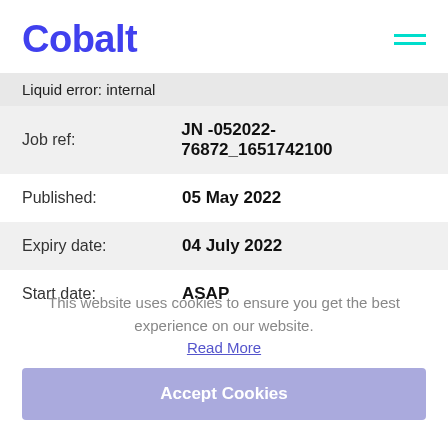Cobalt
Liquid error: internal
| Job ref: | JN -052022-76872_1651742100 |
| Published: | 05 May 2022 |
| Expiry date: | 04 July 2022 |
| Start date: | ASAP |
This website uses cookies to ensure you get the best experience on our website.
Read More
Accept Cookies
Cobalt is searching for an experienced Technical Services Manager to join one of the most